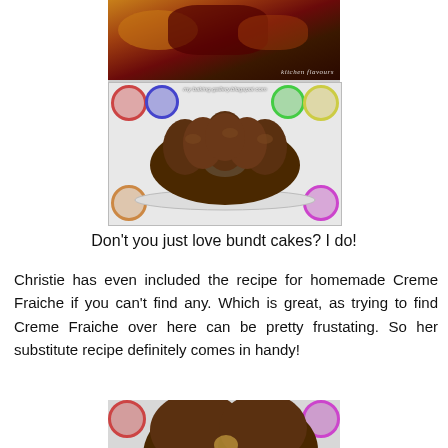[Figure (photo): Two food photos stacked: top image shows a baked cherry/berry cake in a dark pan with a 'kitchen flavours' watermark; bottom image shows a chocolate bundt cake on a white plate with a colorful polka-dot background and blog URL watermark.]
Don't you just love bundt cakes? I do!
Christie has even included the recipe for homemade Creme Fraiche if you can't find any. Which is great, as trying to find Creme Fraiche over here can be pretty frustating. So her substitute recipe definitely comes in handy!
[Figure (photo): Close-up of the chocolate bundt cake sliced, showing interior texture with colorful polka-dot background.]